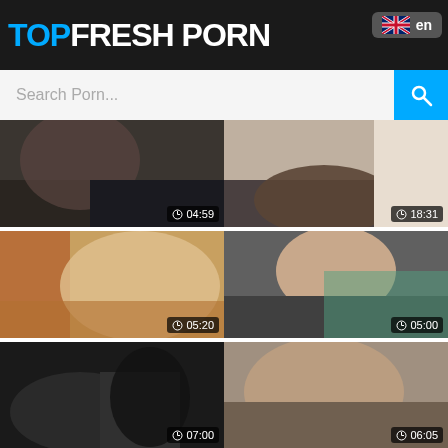TOPFRESH PORN
Search Porn...
[Figure (screenshot): Video thumbnail 1 - duration 04:59]
Weirdo of Nature 57 Brutally fisted
[Figure (screenshot): Video thumbnail 2 - duration 18:31]
Asian japanese porn extreme Fou
[Figure (screenshot): Video thumbnail 3 - duration 05:20]
Ambitious red-haired Rosanna cra
[Figure (screenshot): Video thumbnail 4 - duration 05:00]
Petite teen extraordinary anal Step
[Figure (screenshot): Video thumbnail 5 - duration 07:00]
[Figure (screenshot): Video thumbnail 6 - duration 06:05]